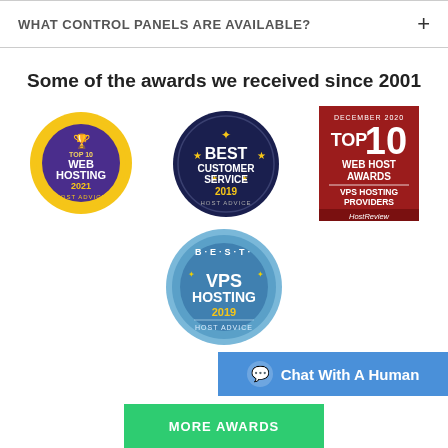WHAT CONTROL PANELS ARE AVAILABLE?
Some of the awards we received since 2001
[Figure (illustration): Top 10 Web Hosting 2021 - HostAdvice award badge (gold/purple circular badge)]
[Figure (illustration): Best Customer Service 2019 - HostAdvice award badge (dark navy circular badge with stars)]
[Figure (illustration): December 2020 Top 10 Web Host Awards VPS Hosting Providers - HostReview (red square badge)]
[Figure (illustration): Best VPS Hosting 2019 - HostAdvice award badge (blue circular badge)]
Chat With A Human
MORE AWARDS